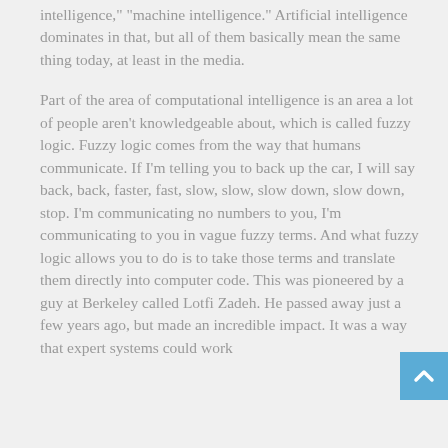intelligence," "machine intelligence." Artificial intelligence dominates in that, but all of them basically mean the same thing today, at least in the media.
Part of the area of computational intelligence is an area a lot of people aren't knowledgeable about, which is called fuzzy logic. Fuzzy logic comes from the way that humans communicate. If I'm telling you to back up the car, I will say back, back, faster, fast, slow, slow, slow down, slow down, stop. I'm communicating no numbers to you, I'm communicating to you in vague fuzzy terms. And what fuzzy logic allows you to do is to take those terms and translate them directly into computer code. This was pioneered by a guy at Berkeley called Lotfi Zadeh. He passed away just a few years ago, but made an incredible impact. It was a way that expert systems could work